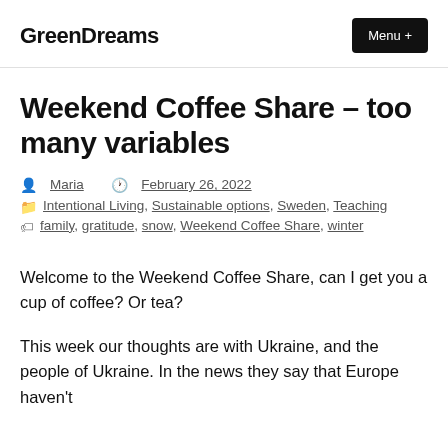GreenDreams
Weekend Coffee Share – too many variables
Maria  February 26, 2022
Intentional Living, Sustainable options, Sweden, Teaching
family, gratitude, snow, Weekend Coffee Share, winter
Welcome to the Weekend Coffee Share, can I get you a cup of coffee? Or tea?
This week our thoughts are with Ukraine, and the people of Ukraine. In the news they say that Europe haven't